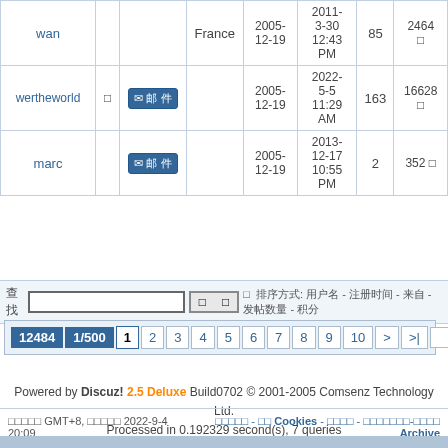| 用户名 |  |  | 来自 | 注册时间 | 最后发表 | 发帖 | 积分 |
| --- | --- | --- | --- | --- | --- | --- | --- |
| wan |  |  | France | 2005-12-19 | 2011-3-30 12:43 PM | 85 | 2464 □ |
| wertheworld | □ | ✉邮件 |  | 2005-12-19 | 2022-5-5 11:29 AM | 163 | 16628 □ |
| marc |  | ✉邮件 |  | 2005-12-19 | 2013-12-17 10:55 PM | 2 | 352 □ |
查找 □ □ □ 排序方式: 用户名 - 注册时间 - 来自 - 发帖数量 - 积分
12484 1/500 1 2 3 4 5 6 7 8 9 10 > >|
Powered by Discuz! 2.5 Deluxe Build0702 © 2001-2005 Comsenz Technology Ltd. Processed in 0.192329 second(s), 7 queries
当前时区 GMT+8, 现在时间是 2022-9-4 20:09  联系我们 - 清除 Cookies - 顶部 - 管理员信息-返回顶部 Archive